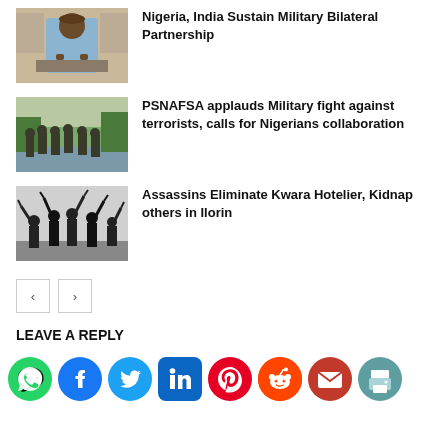[Figure (photo): Man in light blue traditional attire speaking at podium]
Nigeria, India Sustain Military Bilateral Partnership
[Figure (photo): Soldiers wading through floodwater]
PSNAFSA applauds Military fight against terrorists, calls for Nigerians collaboration
[Figure (photo): Silhouette of armed individuals raising weapons]
Assassins Eliminate Kwara Hotelier, Kidnap others in Ilorin
LEAVE A REPLY
[Figure (infographic): Social media share icons: WhatsApp, Facebook, Twitter, LinkedIn, Pinterest, Reddit, Email, Print]